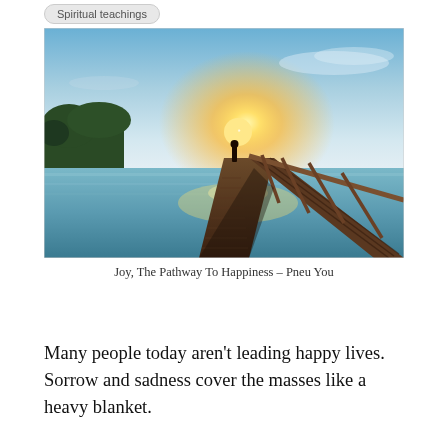Spiritual teachings
[Figure (photo): A wooden dock/pier extending over calm water toward a bright sunset on the horizon, with trees on the left and wooden railing on the right. Warm golden light glows from the center.]
Joy, The Pathway To Happiness – Pneu You
Many people today aren't leading happy lives. Sorrow and sadness cover the masses like a heavy blanket.